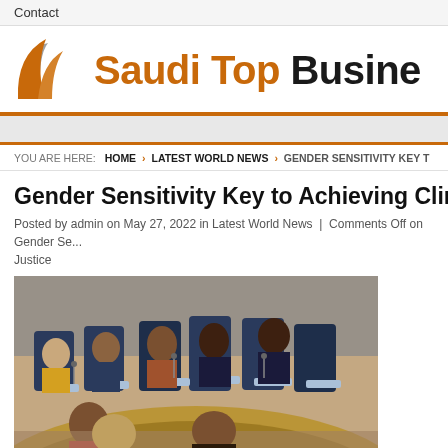Contact
[Figure (logo): Saudi Top Business logo with orange/grey flame icon and text 'Saudi Top Busine...']
YOU ARE HERE:  HOME › LATEST WORLD NEWS › GENDER SENSITIVITY KEY T
Gender Sensitivity Key to Achieving Climate J
Posted by admin on May 27, 2022 in Latest World News  |  Comments Off on Gender Se... Justice
[Figure (photo): Women seated around a curved conference table with UN nameplates and microphones, in what appears to be a UN meeting room]